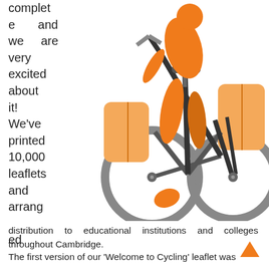complete and we are very excited about it! We've printed 10,000 leaflets and arranged distribution to educational institutions and colleges throughout Cambridge.
[Figure (illustration): Illustration of a cyclist on a bicycle with orange clothing and panniers, shown from a rear-angled perspective. The bicycle has grey wheels and black frame elements. The cyclist wears orange and the bike bags are light orange/peach.]
The first version of our 'Welcome to Cycling' leaflet was